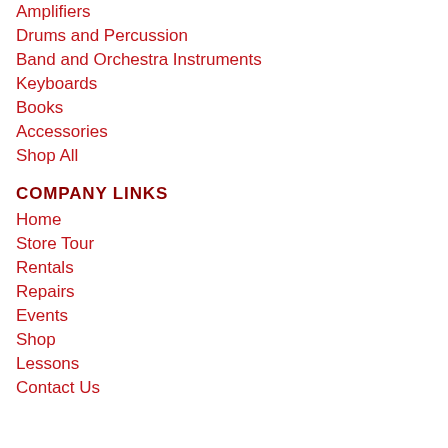Amplifiers
Drums and Percussion
Band and Orchestra Instruments
Keyboards
Books
Accessories
Shop All
COMPANY LINKS
Home
Store Tour
Rentals
Repairs
Events
Shop
Lessons
Contact Us